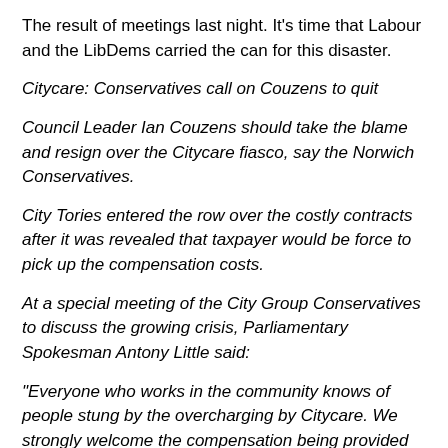The result of meetings last night. It's time that Labour and the LibDems carried the can for this disaster.
Citycare: Conservatives call on Couzens to quit
Council Leader Ian Couzens should take the blame and resign over the Citycare fiasco, say the Norwich Conservatives.
City Tories entered the row over the costly contracts after it was revealed that taxpayer would be force to pick up the compensation costs.
At a special meeting of the City Group Conservatives to discuss the growing crisis, Parliamentary Spokesman Antony Little said:
"Everyone who works in the community knows of people stung by the overcharging by Citycare. We strongly welcome the compensation being provided but we cannot fathom why it is taxpayers who are lumbered with the bill and not Citycare who were the ones overcharging."